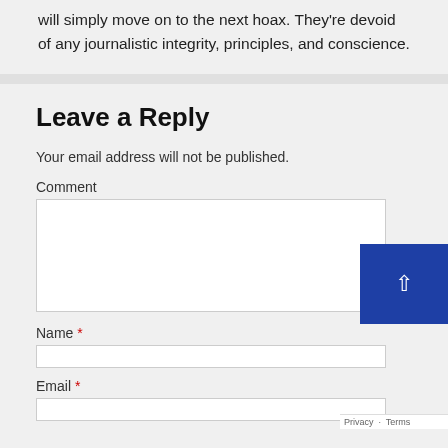will simply move on to the next hoax. They're devoid of any journalistic integrity, principles, and conscience.
Leave a Reply
Your email address will not be published.
Comment
Name *
Email *